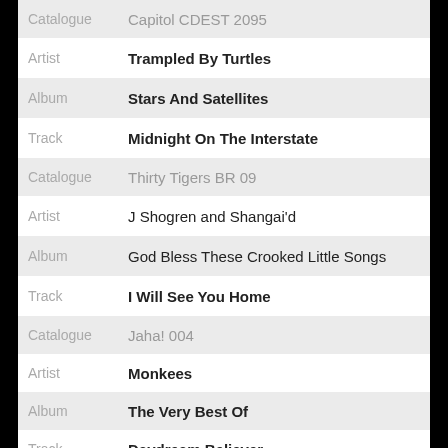Catalogue: Capitol CDEST 2095
Artist: Trampled By Turtles
Album: Stars And Satellites
Track: Midnight On The Interstate
Catalogue: Thirty Tigers BR 09
Artist: J Shogren and Shangai'd
Album: God Bless These Crooked Little Songs
Track: I Will See You Home
Catalogue: Jaha! 004
Artist: Monkees
Album: The Very Best Of
Track: Daydream Believer